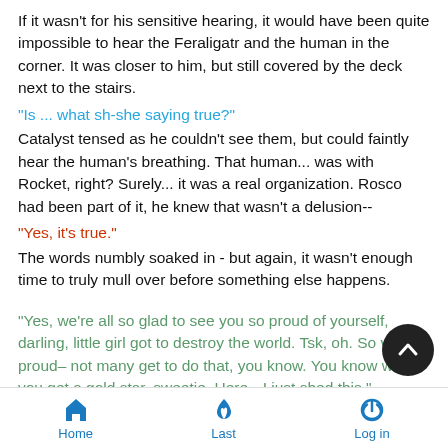If it wasn't for his sensitive hearing, it would have been quite impossible to hear the Feraligatr and the human in the corner. It was closer to him, but still covered by the deck next to the stairs.
"Is ... what sh-she saying true?"
Catalyst tensed as he couldn't see them, but could faintly hear the human's breathing. That human... was with Rocket, right? Surely... it was a real organization. Rosco had been part of it, he knew that wasn't a delusion--
"Yes, it's true."
The words numbly soaked in - but again, it wasn't enough time to truly mull over before something else happens.
"Yes, we're all so glad to see you so proud of yourself, darling, little girl got to destroy the world. Tsk, oh. So very proud– not many get to do that, you know. You know what, you get a gold star, sweetie. Here-- I just shed this."
Catalyst shoots up to look at the dragon on the roof, seem just appearing there.  How long had he been there?... As long as
Home  Last  Log in